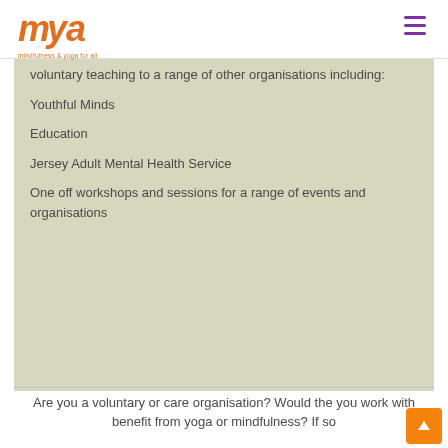mya mindfulness & yoga for all
voluntary teaching to a range of other organisations including:
Youthful Minds
Education
Jersey Adult Mental Health Service
One off workshops and sessions for a range of events and organisations
Are you a voluntary or care organisation? Would the you work with benefit from yoga or mindfulness? If so